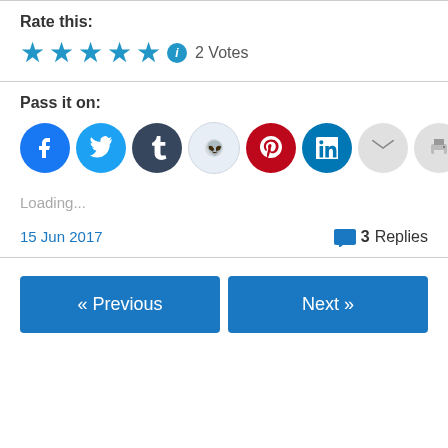Rate this:
[Figure (infographic): Five blue stars rating widget with info icon and '2 Votes' label]
Pass it on:
[Figure (infographic): Social sharing buttons: Facebook, Twitter, Tumblr, Reddit, Pinterest, LinkedIn, Email, Print, and a More button]
Loading...
15 Jun 2017
3 Replies
« Previous
Next »